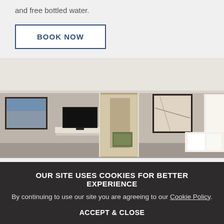and free bottled water.
BOOK NOW
[Figure (photo): Hotel room interior with TV on white media console, framed artwork on walls, open doorway to hallway/bathroom, bed with white pillows visible on right, lamp on right side.]
OUR SITE USES COOKIES FOR BETTER EXPERIENCE
By continuing to use our site you are agreeing to our Cookie Policy.
ACCEPT & CLOSE